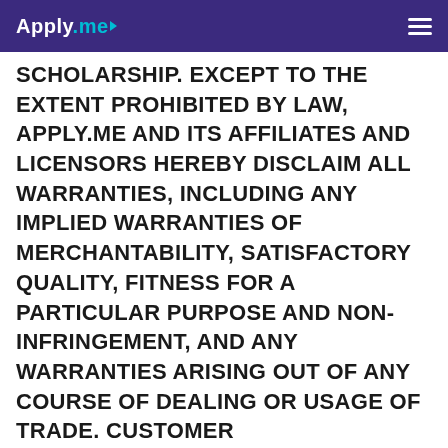Apply.me
SCHOLARSHIP. EXCEPT TO THE EXTENT PROHIBITED BY LAW, APPLY.ME AND ITS AFFILIATES AND LICENSORS HEREBY DISCLAIM ALL WARRANTIES, INCLUDING ANY IMPLIED WARRANTIES OF MERCHANTABILITY, SATISFACTORY QUALITY, FITNESS FOR A PARTICULAR PURPOSE AND NON-INFRINGEMENT, AND ANY WARRANTIES ARISING OUT OF ANY COURSE OF DEALING OR USAGE OF TRADE. CUSTOMER ACKNOWLEDGES THAT THERE ARE RISKS INHERENT IN INTERNET CONNECTIVITY THAT COULD RESULT IN THE LOSS OF CUSTOMER'S CONTENT, PRIVACY, DATA,